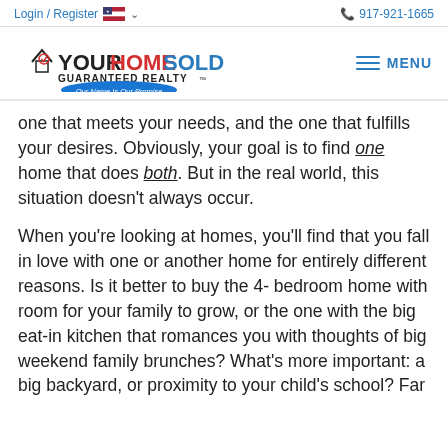Login / Register   917-921-1665
[Figure (logo): Your Home Sold Guaranteed Realty logo with house icon and blue oval tagline 'Our Name Is Our Promise']
one that meets your needs, and the one that fulfills your desires. Obviously, your goal is to find one home that does both. But in the real world, this situation doesn't always occur.
When you're looking at homes, you'll find that you fall in love with one or another home for entirely different reasons. Is it better to buy the 4- bedroom home with room for your family to grow, or the one with the big eat-in kitchen that romances you with thoughts of big weekend family brunches? What's more important: a big backyard, or proximity to your child's school? Far